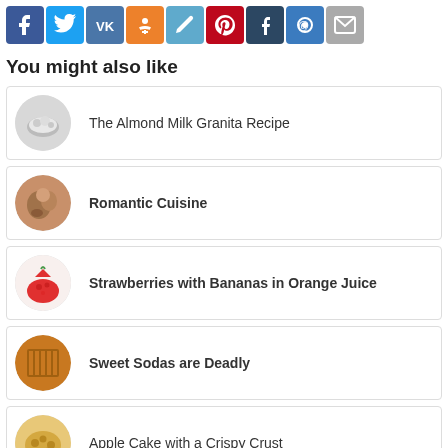[Figure (infographic): Row of social media share icons: Facebook, Twitter, VK, Odnoklassniki, Pen/Edit, Pinterest, Tumblr, At-sign, Mail]
You might also like
The Almond Milk Granita Recipe
Romantic Cuisine
Strawberries with Bananas in Orange Juice
Sweet Sodas are Deadly
Apple Cake with a Crispy Crust